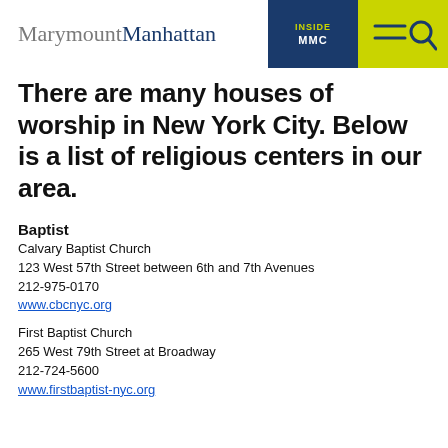MarymountManhattan | INSIDE MMC
There are many houses of worship in New York City. Below is a list of religious centers in our area.
Baptist
Calvary Baptist Church
123 West 57th Street between 6th and 7th Avenues
212-975-0170
www.cbcnyc.org
First Baptist Church
265 West 79th Street at Broadway
212-724-5600
www.firstbaptist-nyc.org